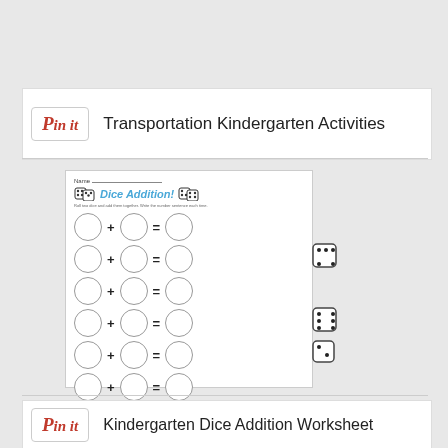[Figure (screenshot): Pinterest 'Pin it' button with label 'Transportation Kindergarten Activities']
[Figure (illustration): Kindergarten Dice Addition Worksheet showing six rows of circle + circle = circle equations with dice images on the side and a 'Dice Addition!' header]
[Figure (screenshot): Pinterest 'Pin it' button with label 'Kindergarten Dice Addition Worksheet']